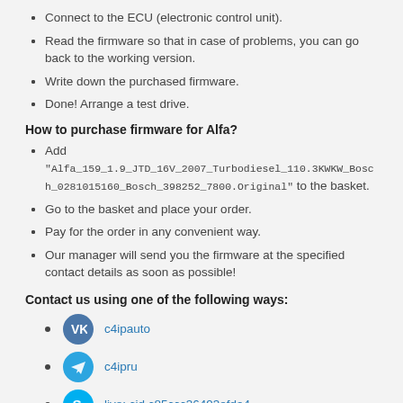Connect to the ECU (electronic control unit).
Read the firmware so that in case of problems, you can go back to the working version.
Write down the purchased firmware.
Done! Arrange a test drive.
How to purchase firmware for Alfa?
Add "Alfa_159_1.9_JTD_16V_2007_Turbodiesel_110.3KWKW_Bosch_0281015160_Bosch_398252_7800.Original" to the basket.
Go to the basket and place your order.
Pay for the order in any convenient way.
Our manager will send you the firmware at the specified contact details as soon as possible!
Contact us using one of the following ways:
c4ipauto
c4ipru
live:.cid.c85ccc36493efda4